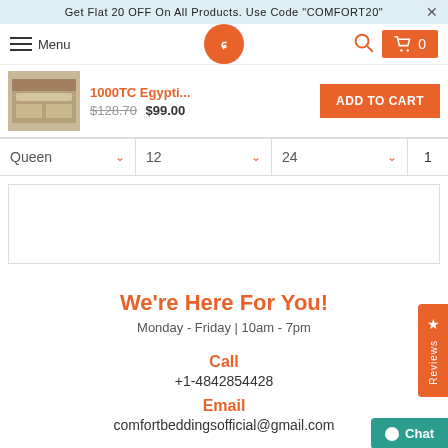Get Flat 20 OFF On All Products. Use Code "COMFORT20"
[Figure (screenshot): Navigation bar with hamburger menu, Menu text, CB logo circle, search icon, and cart button showing 0]
[Figure (screenshot): Product sticky bar with thumbnail image of bedding, product title 1000TC Egypti..., original price $128.70, sale price $99.00, and ADD TO CART orange button]
| Size | Option1 | Option2 | Qty |
| --- | --- | --- | --- |
| Queen ∨ | 12 ∨ | 24 ∨ | 1 |
[Figure (screenshot): White content area box, Reviews tab on right side with star icon]
We're Here For You!
Monday - Friday | 10am - 7pm
Call
+1-4842854428
Email
comfortbeddingsofficial@gmail.com